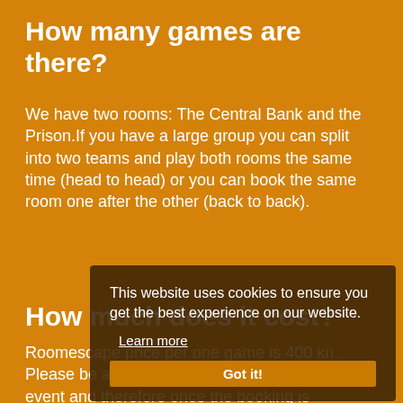How many games are there?
We have two rooms: The Central Bank and the Prison.If you have a large group you can split into two teams and play both rooms the same time (head to head) or you can book the same room one after the other (back to back).
How much does it cost?
Roomescape price per one game is 400 kn. Please be aware that Roomescape is a live event and therefore once the booking is confirmed, refunds, cancellations or reschedules are not accepted. We accept cash only!
[Figure (screenshot): Cookie consent popup overlay reading: 'This website uses cookies to ensure you get the best experience on our website. Learn more Got it!']